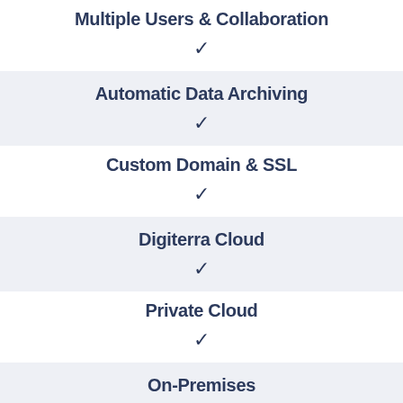Multiple Users & Collaboration
✓
Automatic Data Archiving
✓
Custom Domain & SSL
✓
Digiterra Cloud
✓
Private Cloud
✓
On-Premises
✓
Digiterra University
✓
Community Forum Support